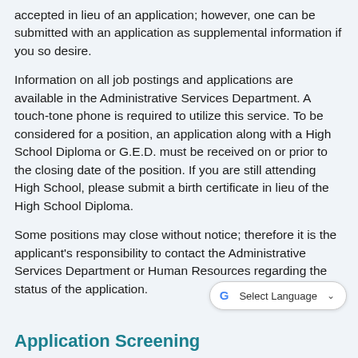accepted in lieu of an application; however, one can be submitted with an application as supplemental information if you so desire.
Information on all job postings and applications are available in the Administrative Services Department. A touch-tone phone is required to utilize this service. To be considered for a position, an application along with a High School Diploma or G.E.D. must be received on or prior to the closing date of the position. If you are still attending High School, please submit a birth certificate in lieu of the High School Diploma.
Some positions may close without notice; therefore it is the applicant's responsibility to contact the Administrative Services Department or Human Resources regarding the status of the application.
Application Screening